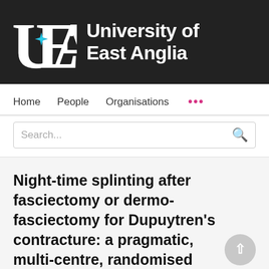[Figure (logo): University of East Anglia logo: large UEA letterform with a blue star in the center, white on dark background, with text 'University of East Anglia']
Home   People   Organisations   ...
Search...
Night-time splinting after fasciectomy or dermo-fasciectomy for Dupuytren's contracture: a pragmatic, multi-centre, randomised controlled trial